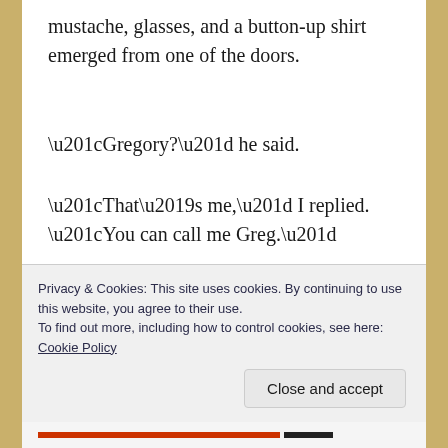mustache, glasses, and a button-up shirt emerged from one of the doors.
“Gregory?” he said.
“That’s me,” I replied.  “You can call me Greg.”
“Hi, Greg, I’m Ron Kilbourne,” Ron extended
Privacy & Cookies: This site uses cookies. By continuing to use this website, you agree to their use.
To find out more, including how to control cookies, see here:
Cookie Policy